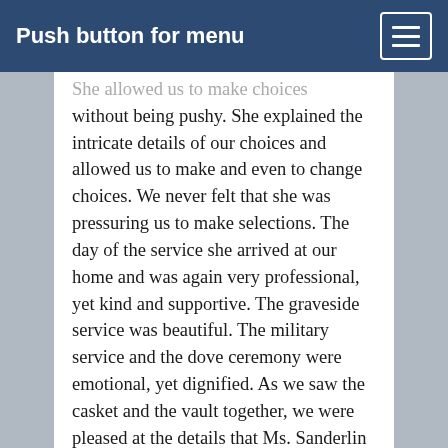Push button for menu
She allowed us to make choices without being pushy. She explained the intricate details of our choices and allowed us to make and even to change choices. We never felt that she was pressuring us to make selections. The day of the service she arrived at our home and was again very professional, yet kind and supportive. The graveside service was beautiful. The military service and the dove ceremony were emotional, yet dignified. As we saw the casket and the vault together, we were pleased at the details that Ms. Sanderlin had reviewed with us. We would recommend Reach to our